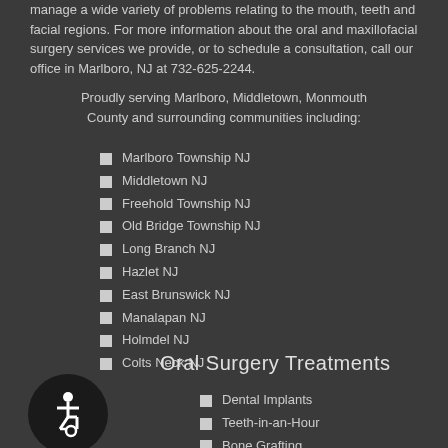manage a wide variety of problems relating to the mouth, teeth and facial regions. For more information about the oral and maxillofacial surgery services we provide, or to schedule a consultation, call our office in Marlboro, NJ at 732-625-2244.
Proudly serving Marlboro, Middletown, Monmouth County and surrounding communities including:
Marlboro Township NJ
Middletown NJ
Freehold Township NJ
Old Bridge Township NJ
Long Branch NJ
Hazlet NJ
East Brunswick NJ
Manalapan NJ
Holmdel NJ
Colts Neck NJ
Oral Surgery Treatments
Dental Implants
Teeth-in-an-Hour
Bone Grafting
[Figure (illustration): Wheelchair accessibility icon — white wheelchair symbol on black circle background]